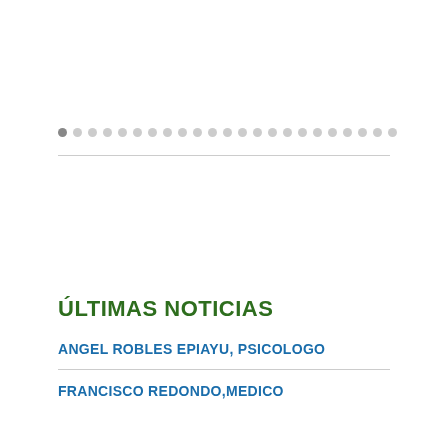[Figure (other): Pagination dots row with first dot darker (active) and remaining dots light grey]
ÚLTIMAS NOTICIAS
ANGEL ROBLES EPIAYU, PSICOLOGO
FRANCISCO REDONDO,MEDICO